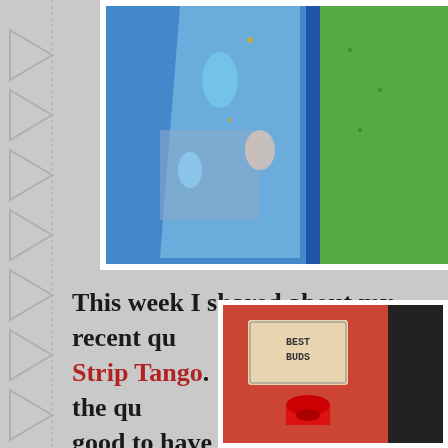[Figure (photo): Top portion of a quilt with dinosaur-themed blue fabric and green fabric strips, photographed close-up.]
This week I shared about my recent qu Strip Tango.  For my version of the qu good to have a finished project under read more about this little quilt here.
[Figure (photo): Bottom right photo showing what appears to be a red/orange label or tag with text (possibly 'BEST BUDS') and a red spool of thread.]